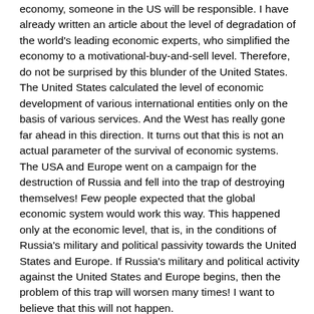economy, someone in the US will be responsible. I have already written an article about the level of degradation of the world's leading economic experts, who simplified the economy to a motivational-buy-and-sell level. Therefore, do not be surprised by this blunder of the United States. The United States calculated the level of economic development of various international entities only on the basis of various services. And the West has really gone far ahead in this direction. It turns out that this is not an actual parameter of the survival of economic systems.
The USA and Europe went on a campaign for the destruction of Russia and fell into the trap of destroying themselves! Few people expected that the global economic system would work this way. This happened only at the economic level, that is, in the conditions of Russia's military and political passivity towards the United States and Europe. If Russia's military and political activity against the United States and Europe begins, then the problem of this trap will worsen many times! I want to believe that this will not happen.
I'm trying to remember if there was such a thing in history when Russia tried to destroy the economy of any country and waged an economic war! The USA has been doing this all their lives. And Brzezinski is probably turning over in his grave from his sins.

The Russian economy will stand. And now there are disputes about the economic model that will be more acceptable for our country.